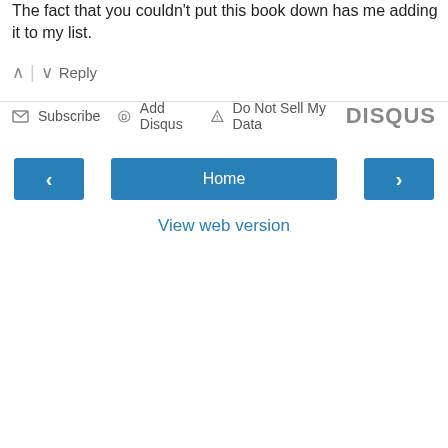The fact that you couldn't put this book down has me adding it to my list.
^ | v Reply
Subscribe  Add Disqus  Do Not Sell My Data  DISQUS
< Home >
View web version